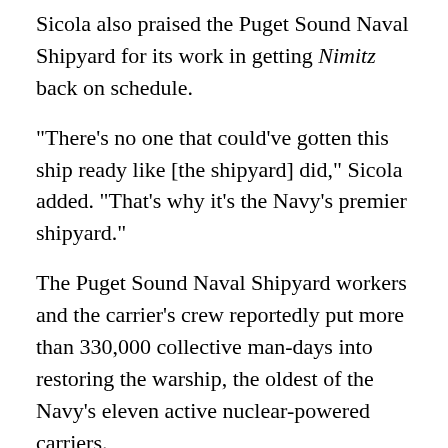Sicola also praised the Puget Sound Naval Shipyard for its work in getting Nimitz back on schedule.
"There's no one that could've gotten this ship ready like [the shipyard] did," Sicola added. "That's why it's the Navy's premier shipyard."
The Puget Sound Naval Shipyard workers and the carrier's crew reportedly put more than 330,000 collective man-days into restoring the warship, the oldest of the Navy's eleven active nuclear-powered carriers.
The Final Deployment?
The ship is reported to have made its final deployment...